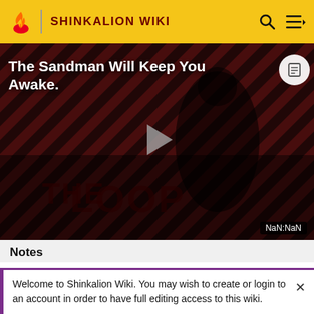SHINKALION WIKI
[Figure (screenshot): Video thumbnail for 'The Sandman Will Keep You Awake' showing a dark-clad figure against striped red/dark background, with THE LOOP watermark, a play button in the center, and NaN:NaN timestamp badge.]
Notes
He shares the same voice actors with the following:
Welcome to Shinkalion Wiki. You may wish to create or login to an account in order to have full editing access to this wiki.